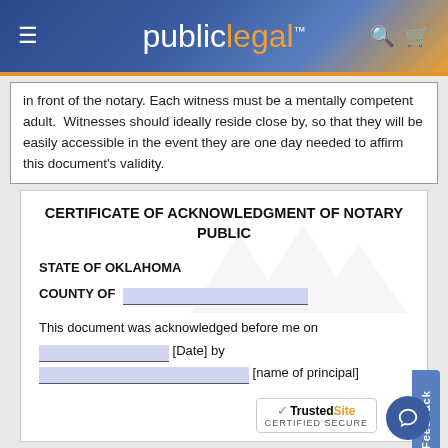publiclegal
in front of the notary. Each witness must be a mentally competent adult.  Witnesses should ideally reside close by, so that they will be easily accessible in the event they are one day needed to affirm this document's validity.
CERTIFICATE OF ACKNOWLEDGMENT OF NOTARY PUBLIC
STATE OF OKLAHOMA
COUNTY OF _______________
This document was acknowledged before me on
_______________ [Date] by
___________________________________ [name of principal]